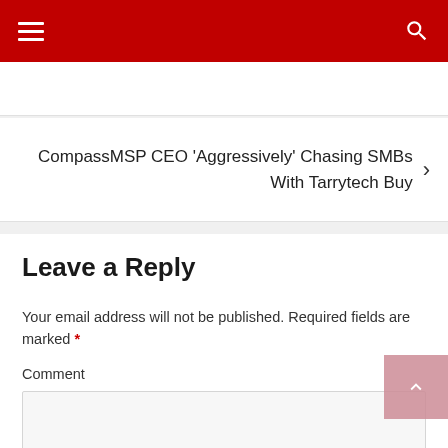Navigation bar with hamburger menu and search icon
CompassMSP CEO 'Aggressively' Chasing SMBs With Tarrytech Buy
Leave a Reply
Your email address will not be published. Required fields are marked *
Comment